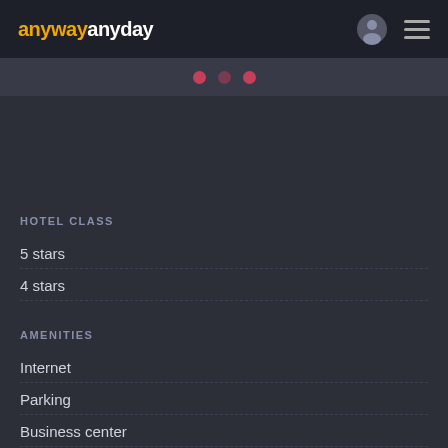anywayanyday
[Figure (other): Three pink/red dot indicators (carousel or pagination dots) on a dark bar]
HOTEL CLASS
5 stars
4 stars
AMENITIES
Internet
Parking
Business center